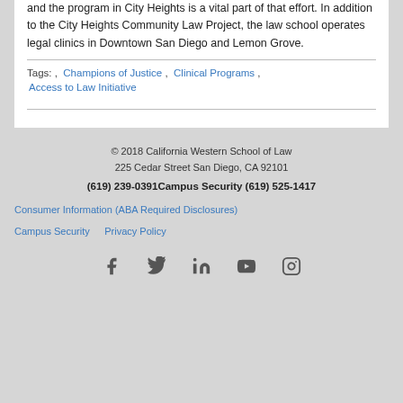and the program in City Heights is a vital part of that effort. In addition to the City Heights Community Law Project, the law school operates legal clinics in Downtown San Diego and Lemon Grove.
Tags: , Champions of Justice , Clinical Programs , Access to Law Initiative
© 2018 California Western School of Law
225 Cedar Street San Diego, CA 92101
(619) 239-0391 Campus Security (619) 525-1417
Consumer Information (ABA Required Disclosures)
Campus Security   Privacy Policy